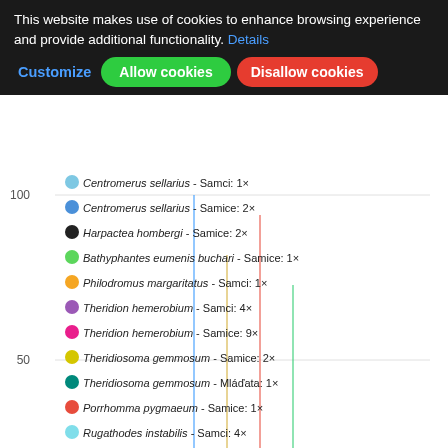[Figure (screenshot): Cookie consent banner overlay on a Highcharts spider/line chart showing spider occurrence data by month. The chart has a legend with colored dots for various spider species and sexes (Centromerus sellarius, Harpactea hombergi, Bathyphantes eumenis buchari, Philodromus margaritatus, Theridion hemerobium, Theridiosoma gemmosum, Porrhomma pygmaeum, Rugathodes instabilis, Clubiona juvenis). Y-axis shows values 0, 50, 100. X-axis shows Czech month names. Below is a second chart section titled 'Dle nadmořské výšky' with y-axis values 300, 350 and legend entries for Araneus quadratus, Microneta viaria.]
This website makes use of cookies to enhance browsing experience and provide additional functionality. Details
Customize | Allow cookies | Disallow cookies
[Figure (line-chart): Line chart with colored series dots in legend: Centromerus sellarius Samci 1x, Centromerus sellarius Samice 2x, Harpactea hombergi Samice 2x, Bathyphantes eumenis buchari Samice 1x, Philodromus margaritatus Samci 1x, Theridion hemerobium Samci 4x, Theridion hemerobium Samice 9x, Theridiosoma gemmosum Samice 2x, Theridiosoma gemmosum Mladata 1x, Porrhomma pygmaeum Samice 1x, Rugathodes instabilis Samci 4x, Rugathodes instabilis Samice 8x, Clubiona juvenis Samci 1x, Clubiona juvenis Samice 1x. Y-axis: 0,50,100. X-axis: ledna, unora, brezna, dubna, kvetna, cervna, cervence, srpna, zari, rina, listopadu, prosince.]
Dle nadmořské výšky
[Figure (line-chart): Second chart section with y-axis values 350 and 300 visible. Legend shows: Araneus quadratus - Samice: 4x, Microneta viaria - Samci: 2x, Microneta viaria - Samice: 1x.]